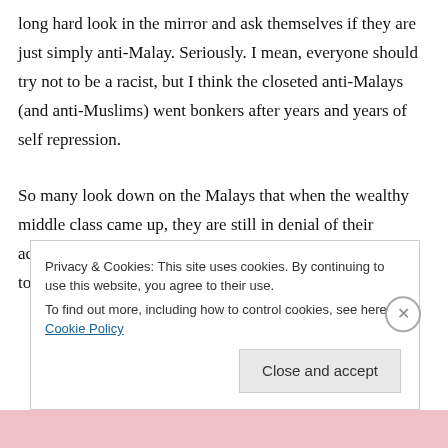long hard look in the mirror and ask themselves if they are just simply anti-Malay. Seriously. I mean, everyone should try not to be a racist, but I think the closeted anti-Malays (and anti-Muslims) went bonkers after years and years of self repression.

So many look down on the Malays that when the wealthy middle class came up, they are still in denial of their achievements and capabilities and attributed it to the tongkat. Perhaps in their
Privacy & Cookies: This site uses cookies. By continuing to use this website, you agree to their use.
To find out more, including how to control cookies, see here: Cookie Policy

Close and accept